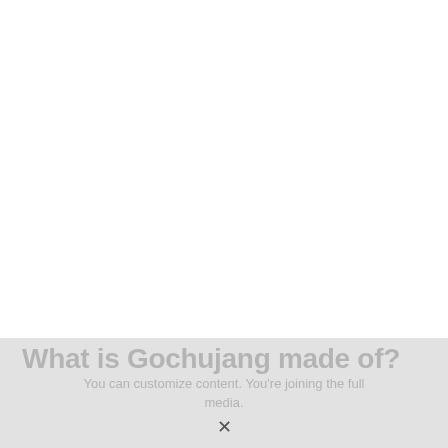What is Gochujang made of?
You can customize content. You're joining the full media.